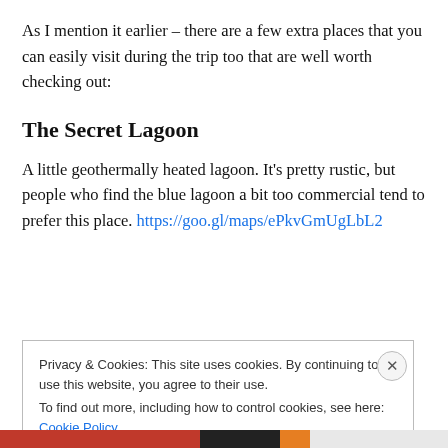As I mention it earlier – there are a few extra places that you can easily visit during the trip too that are well worth checking out:
The Secret Lagoon
A little geothermally heated lagoon. It's pretty rustic, but people who find the blue lagoon a bit too commercial tend to prefer this place. https://goo.gl/maps/ePkvGmUgLbL2
Privacy & Cookies: This site uses cookies. By continuing to use this website, you agree to their use.
To find out more, including how to control cookies, see here: Cookie Policy
Close and accept